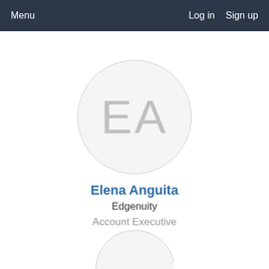Menu   Log in   Sign up
[Figure (illustration): Circular avatar placeholder with initials EA in light gray on a light gray circle with thin border]
Elena Anguita
Edgenuity
Account Executive
[Figure (illustration): Partial circular avatar placeholder at the bottom of the page, cropped]